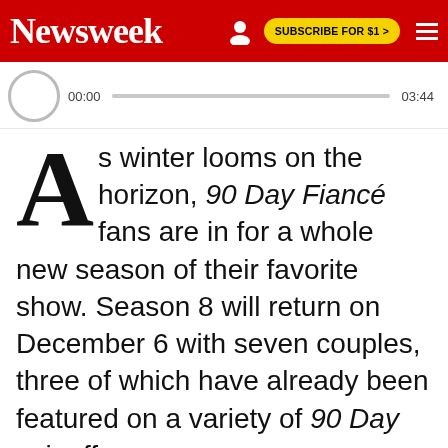Newsweek | SUBSCRIBE FOR $1 >
[Figure (other): Audio player bar with circle icon, time 00:00 and 03:44, and a progress track]
As winter looms on the horizon, 90 Day Fiancé fans are in for a whole new season of their favorite show. Season 8 will return on December 6 with seven couples, three of which have already been featured on a variety of 90 Day spinoffs.